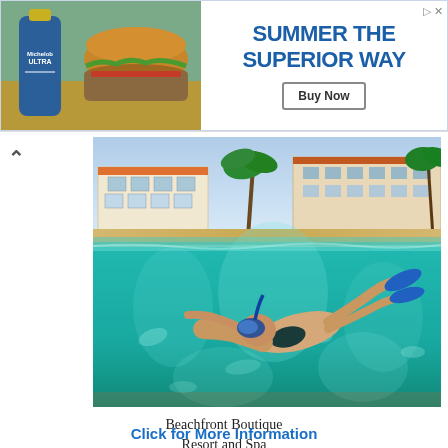[Figure (photo): Advertisement banner: Michelob Ultra bottle and cheeseburger on left; blue text reading SUMMER THE SUPERIOR WAY with a Buy Now button on right]
[Figure (photo): Split underwater/above-water photo of a person snorkeling in clear turquoise water with a beachfront resort visible in the background above the waterline]
Beachfront Boutique
Resort and Spa
St. Croix, USVI
Click for More Information